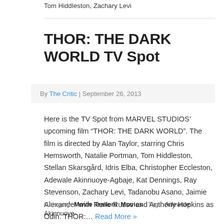Tom Hiddleston, Zachary Levi
THOR: THE DARK WORLD TV Spot
By The Critic | September 26, 2013
Here is the TV Spot from MARVEL STUDIOS’ upcoming film “THOR: THE DARK WORLD”. The film is directed by Alan Taylor, starring Chris Hemsworth, Natalie Portman, Tom Hiddleston, Stellan Skarsgård, Idris Elba, Christopher Eccleston, Adewale Akinnuoye-Agbaje, Kat Dennings, Ray Stevenson, Zachary Levi, Tadanobu Asano, Jaimie Alexander with Rene Russo and Anthony Hopkins as Odin. THOR:… Read More »
Category: Movie Trailers Movies Tags: Adewale Akinnuoye-